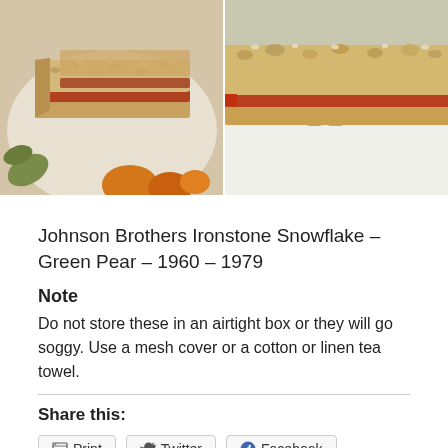[Figure (photo): Two side-by-side food photos showing slices of a crumble/shortbread bar with jam filling on decorative plates with leaf/pear motifs.]
Johnson Brothers Ironstone Snowflake – Green Pear – 1960 – 1979
Note
Do not store these in an airtight box or they will go soggy. Use a mesh cover or a cotton or linen tea towel.
Share this:
Print
Twitter
Facebook